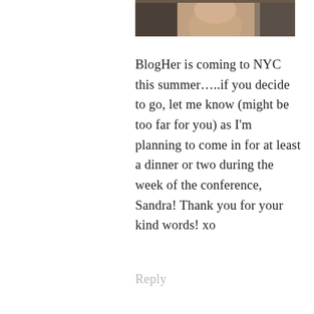[Figure (photo): Partial photo of a person's face, cropped, showing forehead and top of face]
BlogHer is coming to NYC this summer…..if you decide to go, let me know (might be too far for you) as I'm planning to come in for at least a dinner or two during the week of the conference, Sandra! Thank you for your kind words! xo
Reply